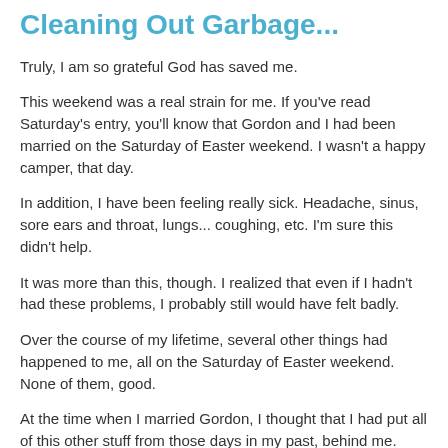Cleaning Out Garbage...
Truly, I am so grateful God has saved me.
This weekend was a real strain for me.  If you've read Saturday's entry, you'll know that Gordon and I had been married on the Saturday of Easter weekend.  I wasn't a happy camper, that day.
In addition, I have been feeling really sick.  Headache, sinus, sore ears and throat, lungs... coughing, etc.  I'm sure this didn't help.
It was more than this, though.  I realized that even if I hadn't had these problems, I probably still would have felt badly.
Over the course of my lifetime, several other things had happened to me, all on the Saturday of Easter weekend.  None of them, good.
At the time when I married Gordon, I thought that I had put all of this other stuff from those days in my past, behind me.